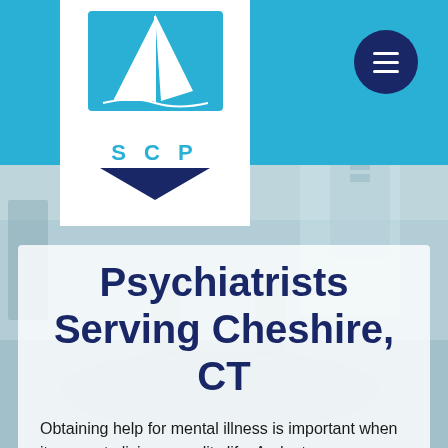[Figure (screenshot): Website screenshot of SCP psychiatry practice. Sky blue header bar with white logo box containing sailboat graphic and 'SCP' text. Dark navy hamburger menu button top right. Background shows blurred office/waiting room photo. Translucent white panel overlaid with large title text and body text.]
Psychiatrists Serving Cheshire, CT
Obtaining help for mental illness is important when it comes to living a quality life. And, at